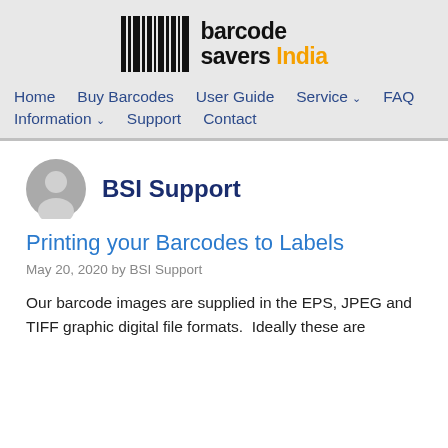[Figure (logo): Barcode Savers India logo with barcode graphic on the left and text 'barcode savers India' on the right, 'India' in orange]
Home   Buy Barcodes   User Guide   Service ∨   FAQ   Information ∨   Support   Contact
[Figure (illustration): Grey circular avatar/user profile icon]
BSI Support
Printing your Barcodes to Labels
May 20, 2020 by BSI Support
Our barcode images are supplied in the EPS, JPEG and TIFF graphic digital file formats.  Ideally these are